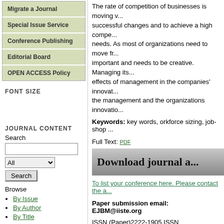Migrate a Journal
Special Issue Service
Conference Publishing
Editorial Board
OPEN ACCESS Policy
FONT SIZE
JOURNAL CONTENT
Search
Browse
By Issue
By Author
By Title
The rate of competition of businesses is moving v... successful changes and to achieve a high compe... needs. As most of organizations need to move fr... important and needs to be creative. Managing its... effects of management in the companies' innovat... the management and the organizations innovatio...
Keywords: key words, orkforce sizing, job-shop ...
Full Text: PDF
[Figure (other): Download journal banner with gradient gray background]
To list your conference here. Please contact the a...
Paper submission email: EJBM@iiste.org
ISSN (Paper)2222-1905 ISSN (Online)2222-2839...
Please add our address "contact@iiste.org" into y...
This journal follows ISO 9001 management stand...
Copyright © www.iiste.org